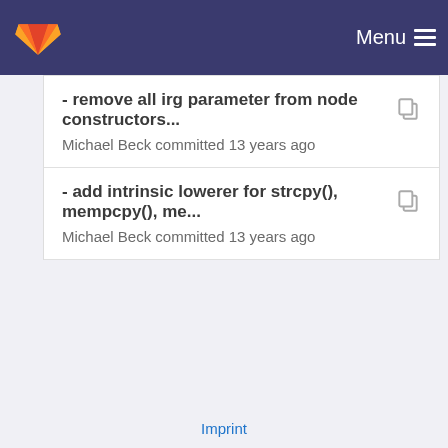Menu
- remove all irg parameter from node constructors...
Michael Beck committed 13 years ago
- add intrinsic lowerer for strcpy(), mempcpy(), me...
Michael Beck committed 13 years ago
Imprint